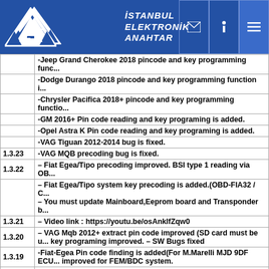İSTANBUL ELEKTRONİK ANAHTAR
| Version | Description |
| --- | --- |
|  | -Jeep Grand Cherokee 2018 pincode and key programming func... |
|  | -Dodge Durango 2018 pincode and key programming function i... |
|  | -Chrysler Pacifica 2018+ pincode and key programming functio... |
|  | -GM 2016+ Pin code reading and key programing is added. |
|  | -Opel Astra K Pin code reading and key programing is added. |
|  | -VAG Tiguan 2012-2014 bug is fixed. |
| 1.3.23 | -VAG MQB precoding bug is fixed. |
| 1.3.22 | – Fiat Egea/Tipo precoding improved. BSI type 1 reading via OB... |
|  | – Fiat Egea/Tipo system key precoding is added.(OBD-FIA32 / C... |
|  | – You must update Mainboard,Eeprom board and Transponder b... |
| 1.3.21 | – Video link : https://youtu.be/osAnklfZqw0 |
| 1.3.20 | – VAG Mqb 2012+ extract pin code improved (SD card must be u... key programing improved. – SW Bugs fixed |
| 1.3.19 | -Fiat-Egea Pin code finding is added(For M.Marelli MJD 9DF ECU... improved for FEM/BDC system. |
|  | -Jeep Grand Cherokee 2014+, Dodge Challenger 2015+, Dodge D... |